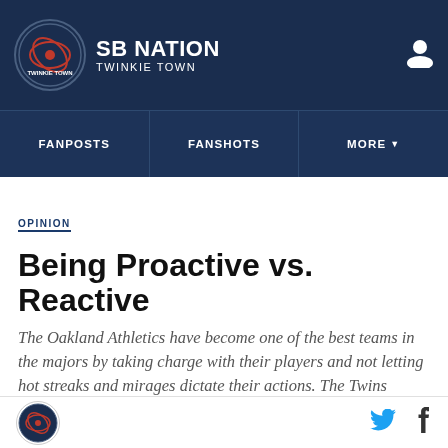SB NATION — TWINKIE TOWN
FANPOSTS | FANSHOTS | MORE
OPINION
Being Proactive vs. Reactive
The Oakland Athletics have become one of the best teams in the majors by taking charge with their players and not letting hot streaks and mirages dictate their actions. The Twins should start taking notes.